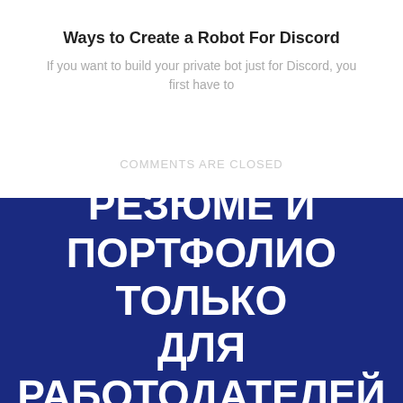Ways to Create a Robot For Discord
If you want to build your private bot just for Discord, you first have to
COMMENTS ARE CLOSED
[Figure (infographic): Dark blue banner with bold white Russian text reading РЕЗЮМЕ И ПОРТФОЛИО ТОЛЬКО ДЛЯ РАБОТОДАТЕЛЕЙ]